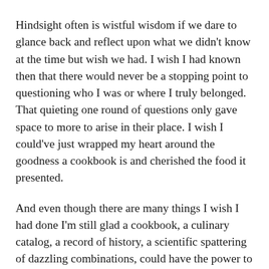Hindsight often is wistful wisdom if we dare to glance back and reflect upon what we didn't know at the time but wish we had. I wish I had known then that there would never be a stopping point to questioning who I was or where I truly belonged. That quieting one round of questions only gave space to more to arise in their place. I wish I could've just wrapped my heart around the goodness a cookbook is and cherished the food it presented.
And even though there are many things I wish I had done I'm still glad a cookbook, a culinary catalog, a record of history, a scientific spattering of dazzling combinations, could have the power to make me peer deeper into myself. To see with so much clarity there was a longing lingering I needed to embrace.
Now, decades later, I can pinpoint the swirls of purple and